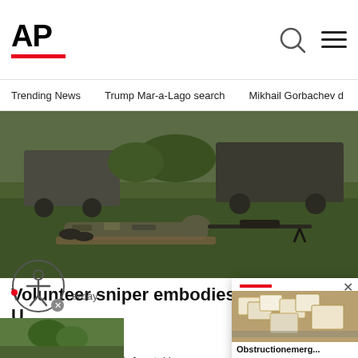AP
Trending News   Trump Mar-a-Lago search   Mikhail Gorbachev d
[Figure (photo): A soldier in camouflage uniform lies prone on grass aiming a sniper rifle, with vehicles visible in the background]
Volunteer sniper embodies U military
KYIV, Ukraine (AP) — Before taking a Andriy buries his face in a foldout mat,
[Figure (screenshot): Popup overlay showing boxes/packages stacked with label 'Obstructionemerg...' and a red bar and close button]
[Figure (photo): Partial bottom thumbnail image showing greenery]